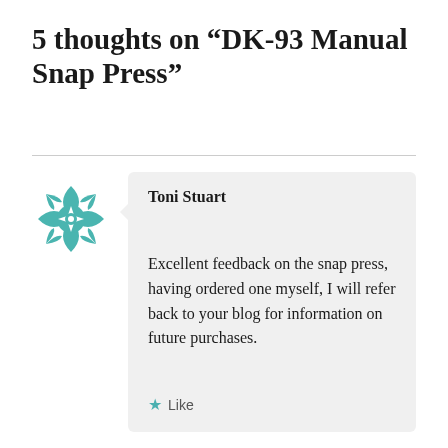5 thoughts on “DK-93 Manual Snap Press”
Toni Stuart
Excellent feedback on the snap press, having ordered one myself, I will refer back to your blog for information on future purchases.
★ Like